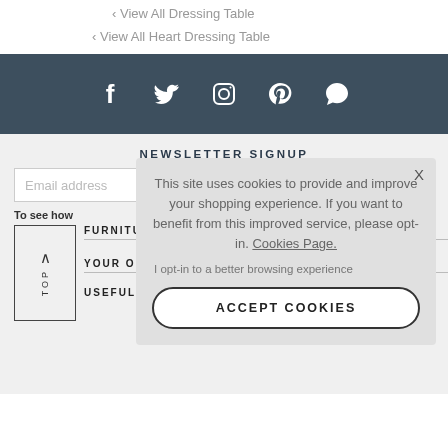View All Dressing Table
View All Heart Dressing Table
[Figure (infographic): Dark blue-grey social media bar with icons: Facebook, Twitter, Instagram, Pinterest, Chat/Speech bubble]
NEWSLETTER SIGNUP
Email address
To see how
FURNITURE
YOUR ORDER
USEFUL LINKS
This site uses cookies to provide and improve your shopping experience. If you want to benefit from this improved service, please opt-in. Cookies Page.
I opt-in to a better browsing experience
ACCEPT COOKIES